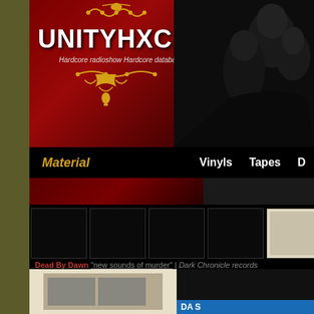[Figure (screenshot): UNITYHXC.COM website header with red/dark background banner, ornamental decorations, site title and subtitle, crowd photo on right side. Navigation bar showing Material, Vinyls, Tapes, DV links. Album thumbnails strip with Dead By Dawn caption and lower content area.]